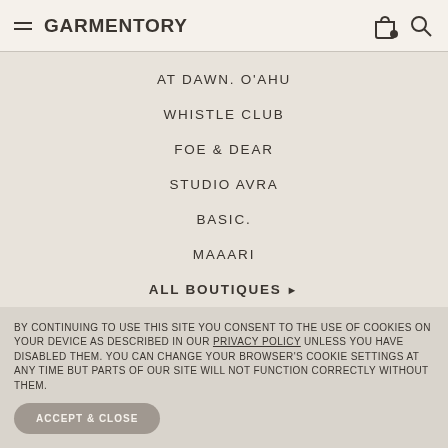GARMENTORY
AT DAWN. O'AHU
WHISTLE CLUB
FOE & DEAR
STUDIO AVRA
BASIC.
MAAARI
ALL BOUTIQUES ▶
BRANDS WE LOVE
SONYA LEE
SEA NY
BY CONTINUING TO USE THIS SITE YOU CONSENT TO THE USE OF COOKIES ON YOUR DEVICE AS DESCRIBED IN OUR PRIVACY POLICY UNLESS YOU HAVE DISABLED THEM. YOU CAN CHANGE YOUR BROWSER'S COOKIE SETTINGS AT ANY TIME BUT PARTS OF OUR SITE WILL NOT FUNCTION CORRECTLY WITHOUT THEM.
ACCEPT & CLOSE